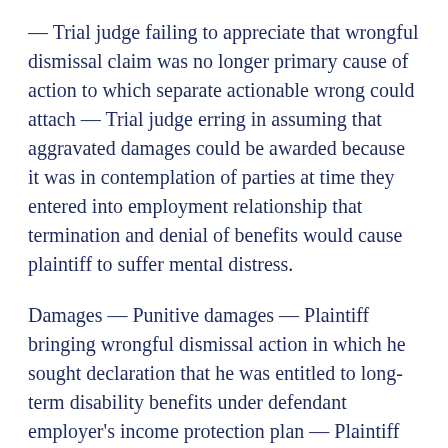— Trial judge failing to appreciate that wrongful dismissal claim was no longer primary cause of action to which separate actionable wrong could attach — Trial judge erring in assuming that aggravated damages could be awarded because it was in contemplation of parties at time they entered into employment relationship that termination and denial of benefits would cause plaintiff to suffer mental distress.
Damages — Punitive damages — Plaintiff bringing wrongful dismissal action in which he sought declaration that he was entitled to long-term disability benefits under defendant employer's income protection plan — Plaintiff abandoning wrongful dismissal claim before trial started and